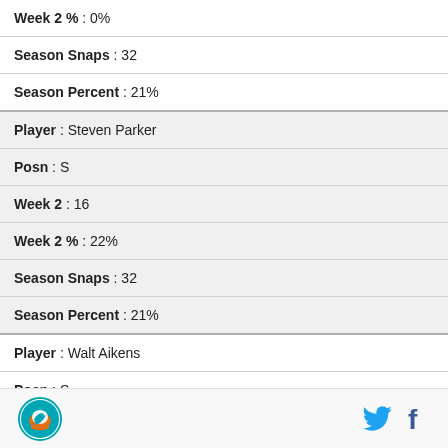| Week 2 % : 0% |
| Season Snaps : 32 |
| Season Percent : 21% |
| Player : Steven Parker |
| Posn : S |
| Week 2 : 16 |
| Week 2 % : 22% |
| Season Snaps : 32 |
| Season Percent : 21% |
| Player : Walt Aikens |
| Posn : S |
Miami Dolphins logo, Twitter icon, Facebook icon